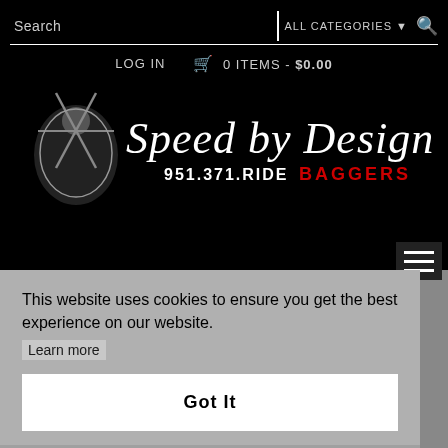Search | ALL CATEGORIES ▼ 🔍
LOG IN  🛒 0 ITEMS - $0.00
[Figure (logo): Speed by Design logo with knight/shield graphic, phone number 951.371.RIDE and BAGGERS text in red]
[Figure (other): Hamburger menu icon (three horizontal white lines on dark background)]
This website uses cookies to ensure you get the best experience on our website.
Learn more
Got It
ability over 8 inch bags. You won't